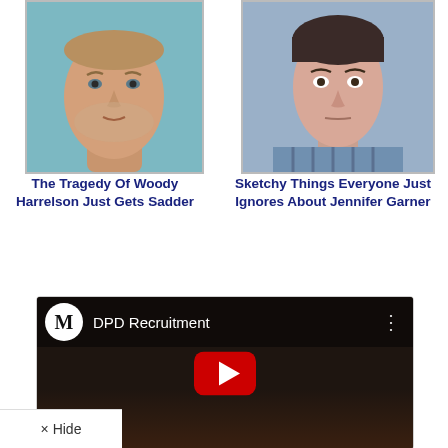[Figure (photo): Photo of Woody Harrelson, a middle-aged man with short hair and stubble, against a teal/blue background]
The Tragedy Of Woody Harrelson Just Gets Sadder
[Figure (photo): Photo of Jennifer Garner, a woman with dark hair looking serious, wearing a plaid shirt]
Sketchy Things Everyone Just Ignores About Jennifer Garner
[Figure (screenshot): YouTube video embed showing 'DPD Recruitment' with an M logo channel icon, dark background with a play button]
× Hide